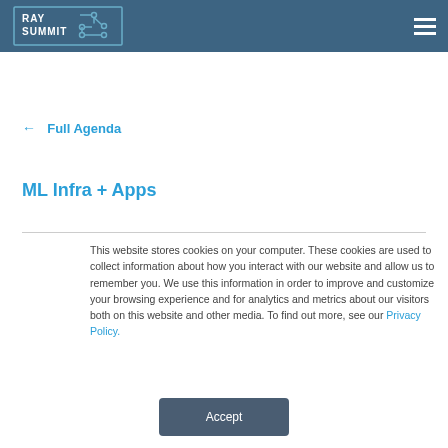RAY SUMMIT
← Full Agenda
ML Infra + Apps
This website stores cookies on your computer. These cookies are used to collect information about how you interact with our website and allow us to remember you. We use this information in order to improve and customize your browsing experience and for analytics and metrics about our visitors both on this website and other media. To find out more, see our Privacy Policy.
Accept